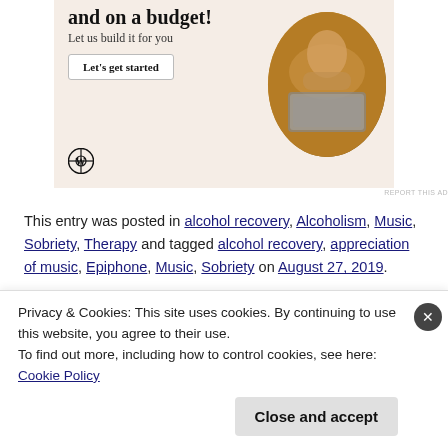[Figure (illustration): WordPress advertisement banner with beige/tan background showing a bold headline partially cut off 'and on a budget!', subtitle 'Let us build it for you', a white 'Let's get started' button, a circular photo of a person using a laptop, and the WordPress logo at bottom left.]
REPORT THIS AD
This entry was posted in alcohol recovery, Alcoholism, Music, Sobriety, Therapy and tagged alcohol recovery, appreciation of music, Epiphone, Music, Sobriety on August 27, 2019.
Privacy & Cookies: This site uses cookies. By continuing to use this website, you agree to their use.
To find out more, including how to control cookies, see here: Cookie Policy